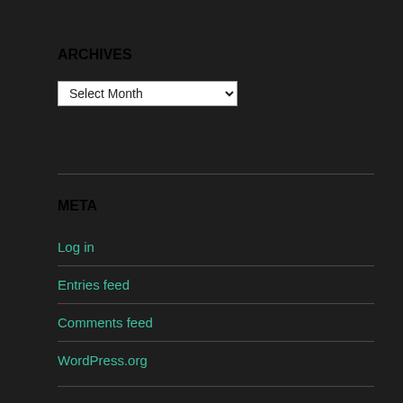ARCHIVES
[Figure (other): A dropdown select input labeled 'Select Month']
META
Log in
Entries feed
Comments feed
WordPress.org